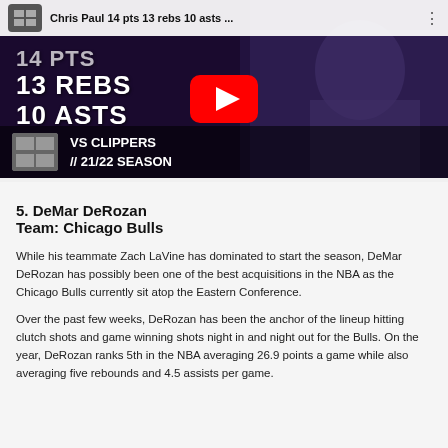[Figure (screenshot): YouTube video thumbnail showing Chris Paul stats: 14 pts, 13 rebs, 10 asts vs Clippers // 21/22 Season. Shows player photo with YouTube play button overlay.]
5. DeMar DeRozan
Team: Chicago Bulls
While his teammate Zach LaVine has dominated to start the season, DeMar DeRozan has possibly been one of the best acquisitions in the NBA as the Chicago Bulls currently sit atop the Eastern Conference.
Over the past few weeks, DeRozan has been the anchor of the lineup hitting clutch shots and game winning shots night in and night out for the Bulls. On the year, DeRozan ranks 5th in the NBA averaging 26.9 points a game while also averaging five rebounds and 4.5 assists per game.